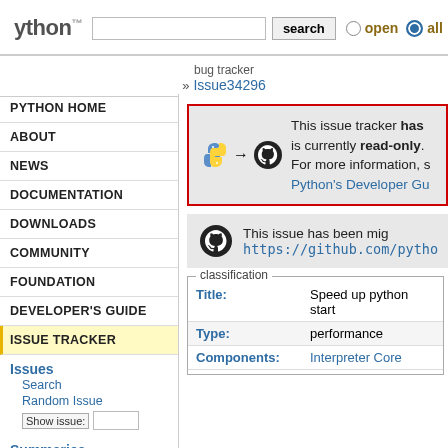[Figure (screenshot): Python bug tracker website header with logo, search bar, open/all radio buttons]
» Issue34296
PYTHON HOME
ABOUT
NEWS
DOCUMENTATION
DOWNLOADS
COMMUNITY
FOUNDATION
DEVELOPER'S GUIDE
ISSUE TRACKER
Issues
Search
Random Issue
Show issue: [input]
Summaries
This issue tracker has [moved and] is currently read-only. For more information, s[ee] Python's Developer Gu[ide]
This issue has been mig[rated to] https://github.com/pytho[n/...]
| Field | Value |
| --- | --- |
| Title: | Speed up python start[up] |
| Type: | performance |
| Components: | Interpreter Core |